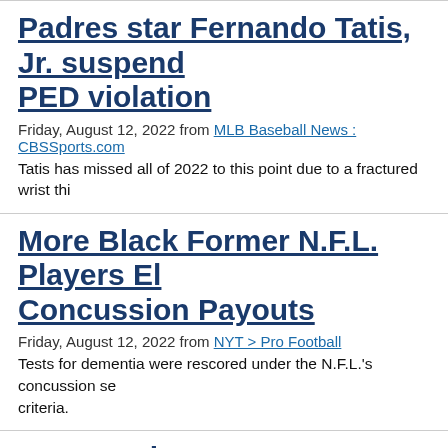Padres star Fernando Tatis, Jr. suspended for PED violation
Friday, August 12, 2022 from MLB Baseball News : CBSSports.com
Tatis has missed all of 2022 to this point due to a fractured wrist thi
More Black Former N.F.L. Players Eligible for Concussion Payouts
Friday, August 12, 2022 from NYT > Pro Football
Tests for dementia were rescored under the N.F.L.'s concussion se criteria.
How Much Do NFL Teams Make? Pa to Find Out.
Friday, August 12, 2022 from NYT > Pro Football
The Green Bay Packers are the only N.F.L. team whose fans can b